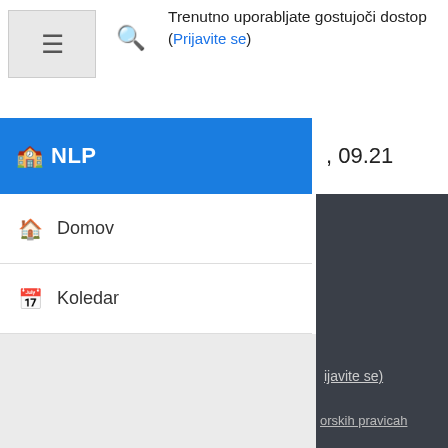Trenutno uporabljate gostujoči dostop
(Prijavite se)
🎓 NLP
09.21
🏠 Domov
📅 Koledar
(ijavite se)
orskih pravicah